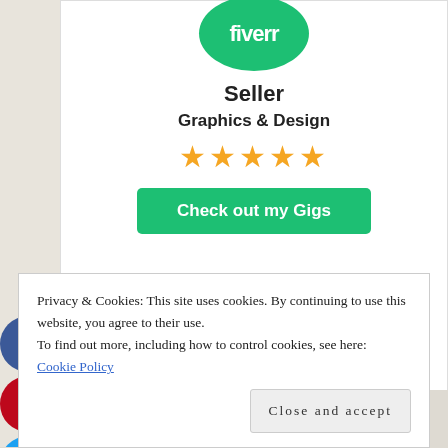[Figure (logo): Fiverr green circular logo with white 'fiverr' text]
Seller
Graphics & Design
[Figure (other): Five gold star rating]
[Figure (other): Green 'Check out my Gigs' button]
[Figure (other): Facebook, Pinterest, Twitter social sharing icons on left side]
Privacy & Cookies: This site uses cookies. By continuing to use this website, you agree to their use.
To find out more, including how to control cookies, see here: Cookie Policy
Close and accept